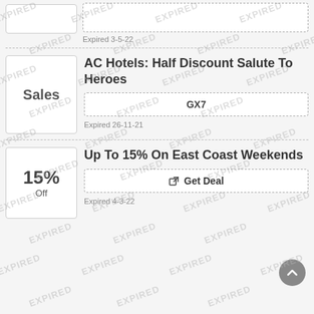Expired 3-5-22
AC Hotels: Half Discount Salute To Heroes
GX7
Expired 26-11-21
Up To 15% On East Coast Weekends
Get Deal
Expired 4-3-22